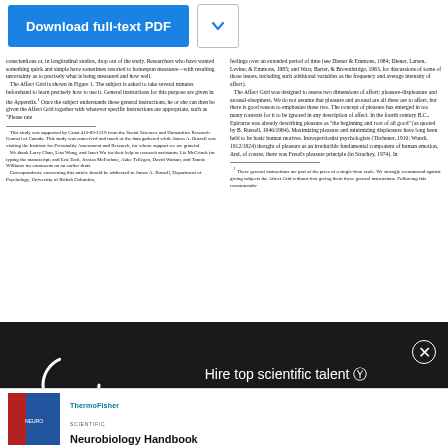[Figure (other): Download full-text PDF button with blue background and a chevron dropdown button]
conscientious or, in longitudinal studies, drop out of the study. Researchers who have wanted something quick and simple have sometimes resorted to homespun measures—with resulting uncertainty as to precisely what is being measured and how well. The Affect Grid is shown in Figure 1. The subject is asked to take several minutes beforehand to learn precisely how to use it. General instructions for this purpose are given in the Appendix.1 Once the subject understands these general instructions, he or she can then be given the Affect Grid together with whatever specific instructions are appropriate, such as "Please rate
This study was supported by Grant 410-85-1319 from the Social Sciences and Humanities Research Council of Canada. This study was conceived and much of the data gathered while James A. Russell was visiting the Institute for Personality Assessment and Research, for whose support we are grateful. We thank Larry Chan, Lisa Wong, and Janet Wu for their help as research assistants; Liz McCrinck for typing the manuscript; and Eric Eich, Jessica McFarlane, Auke Tellegen, David Watson, and Tannis Williams for comments on an earlier draft. Correspondence concerning this article should be addressed to James A. Russell, Department of Psychology, University of British Columbia,
feelings over an extended period of time (see Diener & Emmons, 1984; Diener, Larsen, Levine, & Emmons, 1985; and Warr, Barter, & Brownbridge, 1983, for discussions of some of these issues, including such additional variables as the frequency and average intensity of affect). The Affect Grid was designed to assess two dimensions of affect: pleasure-displeasure and arousal-sleepiness. We do not assume that pleasure and arousal are all there are to affect, but there is good reason to emphasize these two. The concept of pleasure has emerged in too many contexts for it to be ignored in any description of affect. In the fourth century B.C., Epicurus was already describing pleasure as "the beginning and root of all good" (as quoted by B. Russell, 1946/1984). Maximizing pleasure and minimizing displeasure have long been held to be basic human motives. Introspectionist psychologists (Titchener, 1910; Wundt, 1912/1924) thought of pleasure as an irreducible fundamental component of human emotion. And, of course, there was Freud's pleasure principle (in Strachey, 1974). In
1 These general instructions are part of the price of a single-item scale. We strongly recommend against giving subjects the Affect Grid without first giving them these general instructions. Following this recommenda-
[Figure (other): Black overlay advertisement: 'Hire top scientific talent with ResearchGate' with a loading spinner circle and close button]
[Figure (other): Neurobiology Handbook advertisement with ThermoFisher Scientific logo and book cover image]